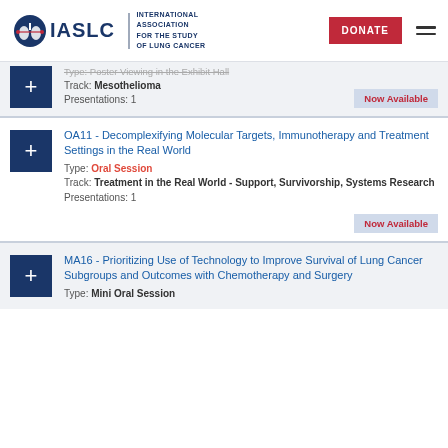IASLC | INTERNATIONAL ASSOCIATION FOR THE STUDY OF LUNG CANCER
Type: Poster Viewing in the Exhibit Hall
Track: Mesothelioma
Presentations: 1
Now Available
OA11 - Decomplexifying Molecular Targets, Immunotherapy and Treatment Settings in the Real World
Type: Oral Session
Track: Treatment in the Real World - Support, Survivorship, Systems Research
Presentations: 1
Now Available
MA16 - Prioritizing Use of Technology to Improve Survival of Lung Cancer Subgroups and Outcomes with Chemotherapy and Surgery
Type: Mini Oral Session